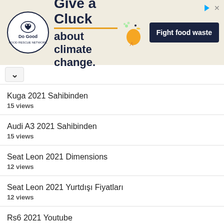[Figure (illustration): Advertisement banner for 'Do Good' campaign — 'Give a Cluck about climate change. Fight food waste.' with a chicken logo and orange button.]
Kuga 2021 Sahibinden
15 views
Audi A3 2021 Sahibinden
15 views
Seat Leon 2021 Dimensions
12 views
Seat Leon 2021 Yurtdışı Fiyatları
12 views
Rs6 2021 Youtube
12 views
Flight Simulator Xbox Release Date 2021 Time